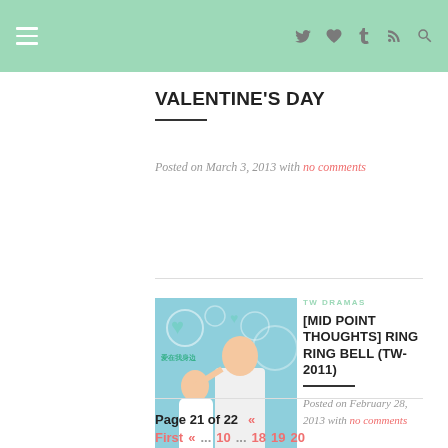Navigation header with menu and social icons
VALENTINE'S DAY
Posted on March 3, 2013 with no comments
[Figure (photo): Drama poster for Ring Ring Bell TW-2011 showing a couple kissing with a child nearby, light blue background with hearts]
TW DRAMAS
[MID POINT THOUGHTS] RING RING BELL (TW-2011)
Posted on February 28, 2013 with no comments
Page 21 of 22 « First « ... 10 ... 18 19 20